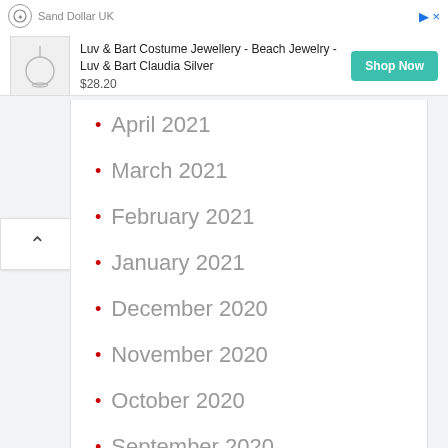[Figure (screenshot): Ad banner for Sand Dollar UK showing a jewelry product: Luv & Bart Costume Jewellery - Beach Jewelry - Luv & Bart Claudia Silver, priced at $28.20 with a Shop Now button]
April 2021
March 2021
February 2021
January 2021
December 2020
November 2020
October 2020
September 2020
August 2020
July 2020